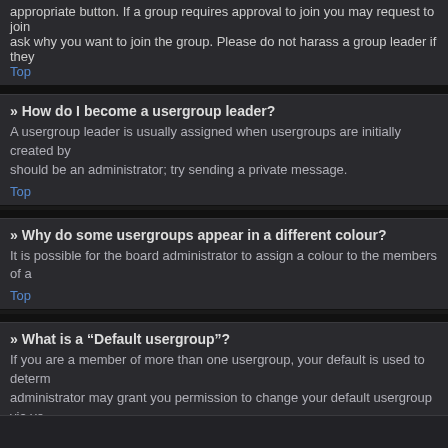appropriate button. If a group requires approval to join you may request to join ask why you want to join the group. Please do not harass a group leader if they
Top
» How do I become a usergroup leader?
A usergroup leader is usually assigned when usergroups are initially created by should be an administrator; try sending a private message.
Top
» Why do some usergroups appear in a different colour?
It is possible for the board administrator to assign a colour to the members of a
Top
» What is a “Default usergroup”?
If you are a member of more than one usergroup, your default is used to determ administrator may grant you permission to change your default usergroup via yo
Top
» What is “The team” link?
This page provides you with a list of board staff, including board administrators a
Top